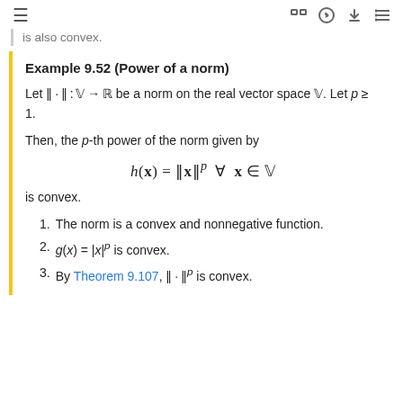≡  [icons: expand, github, download, list]
is also convex.
Example 9.52 (Power of a norm)
Let ‖ · ‖ : V → ℝ be a norm on the real vector space V. Let p ≥ 1.
Then, the p-th power of the norm given by
is convex.
1. The norm is a convex and nonnegative function.
2. g(x) = |x|^p is convex.
3. By Theorem 9.107, ‖ · ‖^p is convex.